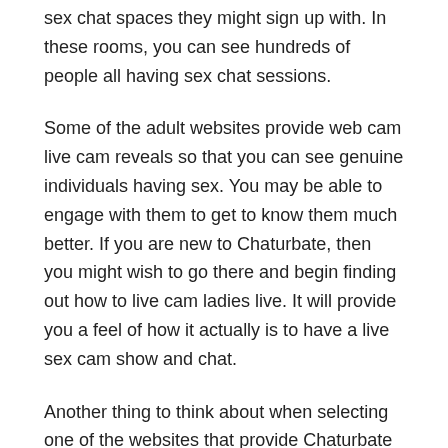sex chat spaces they might sign up with. In these rooms, you can see hundreds of people all having sex chat sessions.
Some of the adult websites provide web cam live cam reveals so that you can see genuine individuals having sex. You may be able to engage with them to get to know them much better. If you are new to Chaturbate, then you might wish to go there and begin finding out how to live cam ladies live. It will provide you a feel of how it actually is to have a live sex cam show and chat.
Another thing to think about when selecting one of the websites that provide Chaturbate live sex cameras is to discover the very best features for your personal needs. If you simply want to see people, then there are lots of types of Chaturbate webcams that only allow one webcam lady. If you desire more than simply one girl, then you will have to select one web cam that permits multiple individuals in the room at once.
Some of the adult websites use private programs that are just